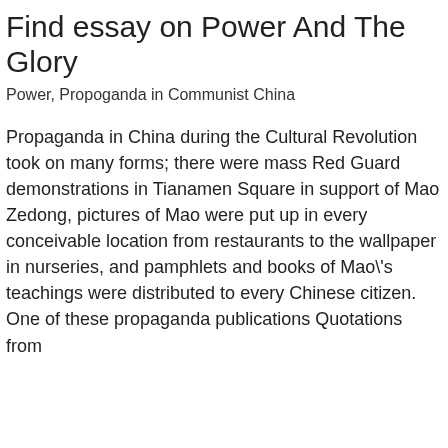Find essay on Power And The Glory
Power, Propoganda in Communist China
Propaganda in China during the Cultural Revolution took on many forms; there were mass Red Guard demonstrations in Tianamen Square in support of Mao Zedong, pictures of Mao were put up in every conceivable location from restaurants to the wallpaper in nurseries, and pamphlets and books of Mao\'s teachings were distributed to every Chinese citizen. One of these propaganda publications Quotations from